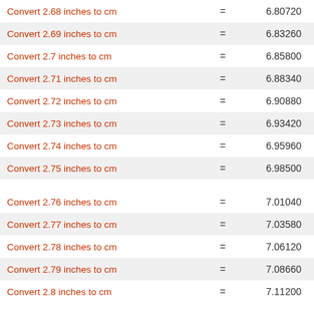| Conversion | = | Result |
| --- | --- | --- |
| Convert 2.68 inches to cm | = | 6.80720 |
| Convert 2.69 inches to cm | = | 6.83260 |
| Convert 2.7 inches to cm | = | 6.85800 |
| Convert 2.71 inches to cm | = | 6.88340 |
| Convert 2.72 inches to cm | = | 6.90880 |
| Convert 2.73 inches to cm | = | 6.93420 |
| Convert 2.74 inches to cm | = | 6.95960 |
| Convert 2.75 inches to cm | = | 6.98500 |
| Convert 2.76 inches to cm | = | 7.01040 |
| Convert 2.77 inches to cm | = | 7.03580 |
| Convert 2.78 inches to cm | = | 7.06120 |
| Convert 2.79 inches to cm | = | 7.08660 |
| Convert 2.8 inches to cm | = | 7.11200 |